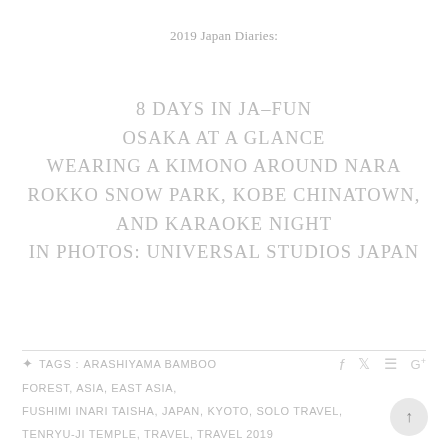2019 Japan Diaries:
8 DAYS IN JA–FUN
OSAKA AT A GLANCE
WEARING A KIMONO AROUND NARA
ROKKO SNOW PARK, KOBE CHINATOWN, AND KARAOKE NIGHT
IN PHOTOS: UNIVERSAL STUDIOS JAPAN
TAGS : ARASHIYAMA BAMBOO FOREST, ASIA, EAST ASIA, FUSHIMI INARI TAISHA, JAPAN, KYOTO, SOLO TRAVEL, TENRYU-JI TEMPLE, TRAVEL, TRAVEL 2019